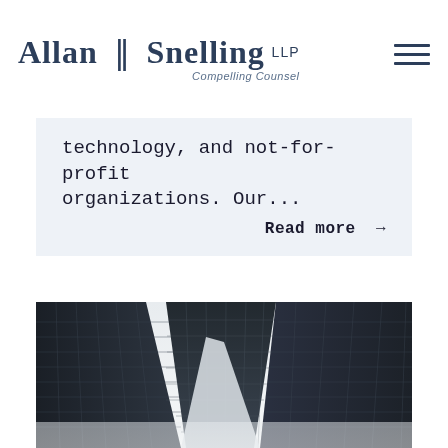Allan Snelling LLP — Compelling Counsel
technology, and not-for-profit organizations. Our...
Read more →
[Figure (photo): Low-angle photograph looking up at multiple dark glass skyscrapers against a white sky]